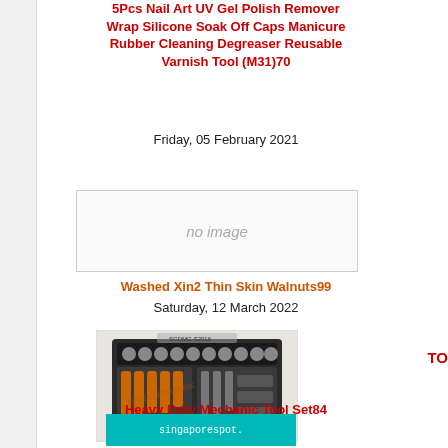5Pcs Nail Art UV Gel Polish Remover Wrap Silicone Soak Off Caps Manicure Rubber Cleaning Degreaser Reusable Varnish Tool (M31)70
Friday, 05 February 2021
[Figure (other): No image placeholder box]
Washed Xin2 Thin Skin Walnuts99
Saturday, 12 March 2022
[Figure (photo): Photo of a heavy duty mechanic tool set in a case with screwdrivers and sockets, with singaporespot.com watermark]
Heavy Duty Mechanic Tool Set84
Friday, 18 June 2021
[Figure (screenshot): singaporespot.com banner at the bottom]